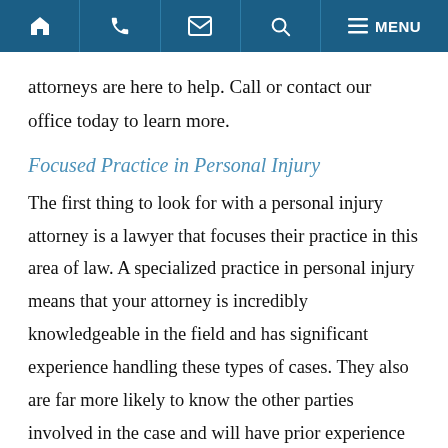[navigation bar with home, phone, email, search, and menu icons]
attorneys are here to help. Call or contact our office today to learn more.
Focused Practice in Personal Injury
The first thing to look for with a personal injury attorney is a lawyer that focuses their practice in this area of law. A specialized practice in personal injury means that your attorney is incredibly knowledgeable in the field and has significant experience handling these types of cases. They also are far more likely to know the other parties involved in the case and will have prior experience negotiating with the insurers in your claim.